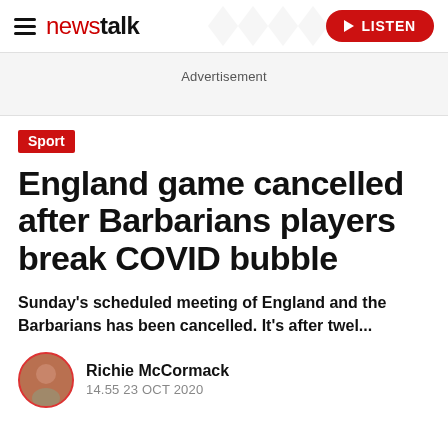newstalk — LISTEN
Advertisement
Sport
England game cancelled after Barbarians players break COVID bubble
Sunday's scheduled meeting of England and the Barbarians has been cancelled.  It's after twel...
Richie McCormack
14.55 23 OCT 2020